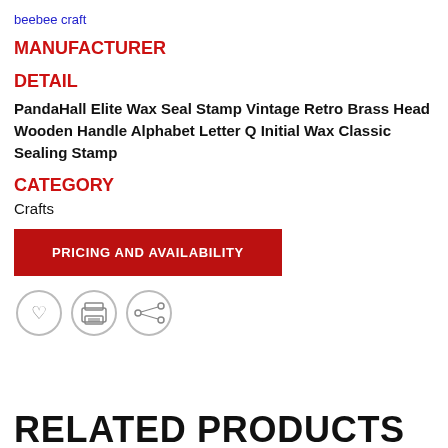beebee craft
MANUFACTURER
DETAIL
PandaHall Elite Wax Seal Stamp Vintage Retro Brass Head Wooden Handle Alphabet Letter Q Initial Wax Classic Sealing Stamp
CATEGORY
Crafts
PRICING AND AVAILABILITY
[Figure (infographic): Three circular icon buttons: heart (favorite), printer (print), and share icons]
RELATED PRODUCTS